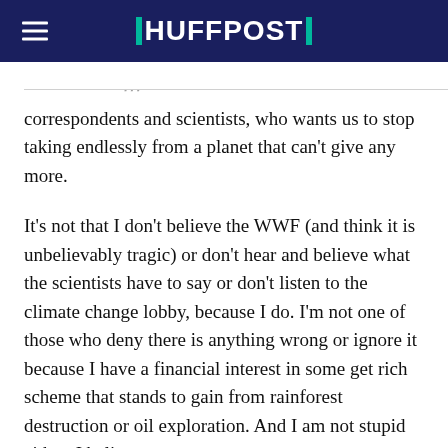HUFFPOST
…, and o… heard from environmental correspondents and scientists, who wants us to stop taking endlessly from a planet that can't give any more.
It's not that I don't believe the WWF (and think it is unbelievably tragic) or don't hear and believe what the scientists have to say or don't listen to the climate change lobby, because I do. I'm not one of those who deny there is anything wrong or ignore it because I have a financial interest in some get rich scheme that stands to gain from rainforest destruction or oil exploration. And I am not stupid either. I believe we